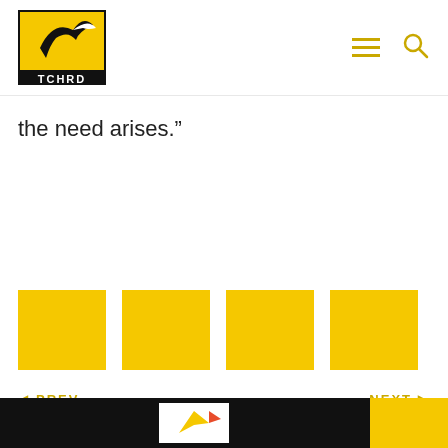TCHRD
the need arises.”
[Figure (illustration): Four yellow square thumbnail images in a row]
◄ PREV    NEXT ►
Link in Tibetan script — 12/11/2019
Link in Tibetan script — 26/11/2019
TCHRD footer with logo